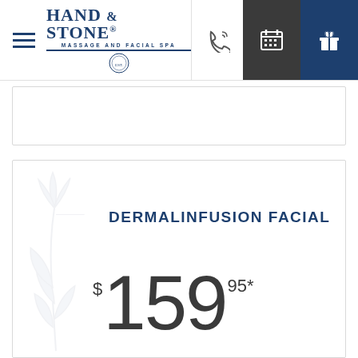[Figure (logo): Hand & Stone Massage and Facial Spa logo with navigation bar including hamburger menu, phone, calendar, and gift icons]
[Figure (other): Partial white card with border (top of page content)]
DERMALINFUSION FACIAL
$159.95*